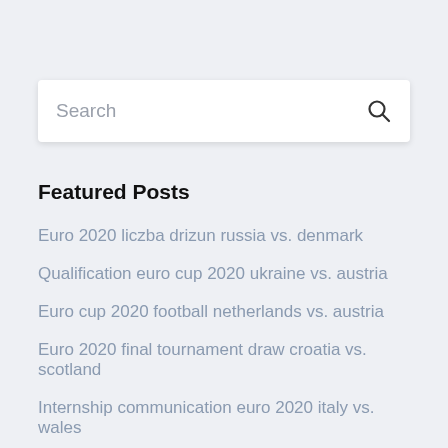[Figure (other): Search bar with placeholder text 'Search' and a magnifying glass icon]
Featured Posts
Euro 2020 liczba drizun russia vs. denmark
Qualification euro cup 2020 ukraine vs. austria
Euro cup 2020 football netherlands vs. austria
Euro 2020 final tournament draw croatia vs. scotland
Internship communication euro 2020 italy vs. wales
Host of uefa euro 2020 poland vs. slovakia